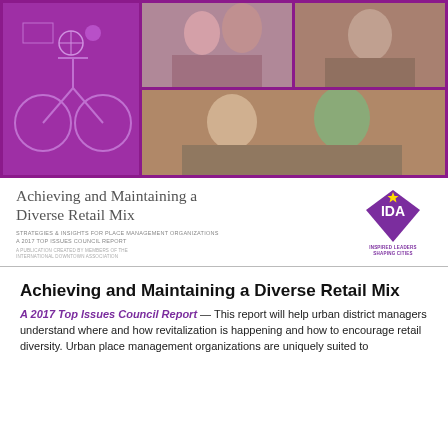[Figure (photo): Cover photo collage: purple background with line-art illustration on left, and three photos of people socializing outdoors on right]
Achieving and Maintaining a Diverse Retail Mix
STRATEGIES & INSIGHTS FOR PLACE MANAGEMENT ORGANIZATIONS
A 2017 TOP ISSUES COUNCIL REPORT
A PUBLICATION CREATED BY MEMBERS OF THE INTERNATIONAL DOWNTOWN ASSOCIATION
[Figure (logo): IDA diamond logo with text INSPIRED LEADERS SHAPING CITIES]
Achieving and Maintaining a Diverse Retail Mix
A 2017 Top Issues Council Report — This report will help urban district managers understand where and how revitalization is happening and how to encourage retail diversity. Urban place management organizations are uniquely suited to